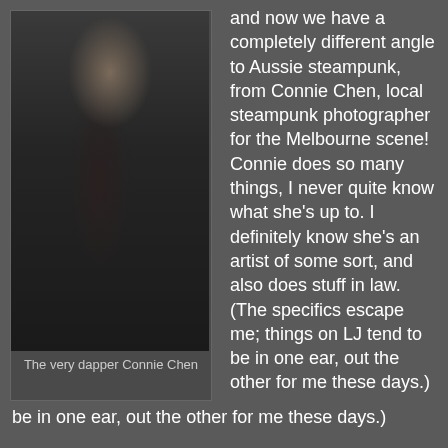[Figure (photo): Black and white photo of Connie Chen, a woman in a dark puffy dress with long reddish hair, standing in a doorway]
The very dapper Connie Chen
and now we have a completely different angle to Aussie steampunk, from Connie Chen, local steampunk photographer for the Melbourne scene! Connie does so many things, I never quite know what she's up to. I definitely know she's an artist of some sort, and also does stuff in law. (The specifics escape me; things on LJ tend to be in one ear, out the other for me these days.)
How do you do steampunk?
I used to be a lot more active in the scene, but Life has been increasingly busy so recently it's taken a backburner to my career and my other creative projects. I used to be